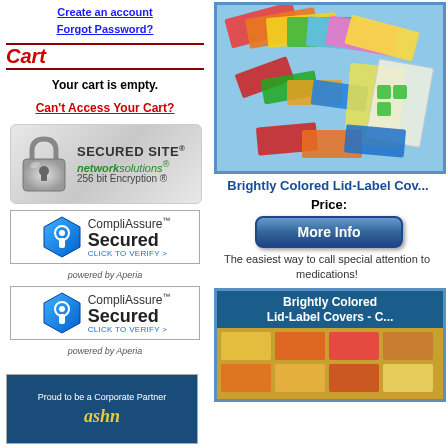Create an account
Forgot Password?
Cart
Your cart is empty.
Can't Access Your Cart?
[Figure (logo): Network Solutions Secured Site 256 bit Encryption badge with padlock icon]
[Figure (logo): CompliAssure Secured - Click to Verify badge, powered by Aperia]
[Figure (logo): CompliAssure Secured - Click to Verify badge, powered by Aperia (second instance)]
[Figure (photo): Brightly colored lid-label covers in multiple colors spread out on blue background]
Brightly Colored Lid-Label Cov...
Price:
[Figure (other): More Info button (blue rounded rectangle button)]
The easiest way to call special attention to medications!
[Figure (photo): Brightly Colored Lid-Label Covers product box with colorful label covers]
[Figure (logo): Proud to be a Corporate Partner - ashn logo badge]